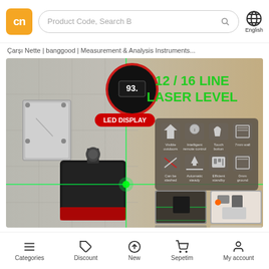[Figure (logo): cn logo orange square]
Product Code, Search B
[Figure (illustration): Globe icon with English label]
Çarşı Nette | banggood | Measurement & Analysis Instruments...
[Figure (photo): 12/16 Line Laser Level product promotional image showing laser level device with green laser lines, LED display callout, feature icons (Visible outdoors, Intelligent remote control, Touch button, 7mm wall, Can be slashed, Automatic steady, Efficient standby, 0mm ground), and accessory thumbnails]
Categories | Discount | New | Sepetim | My account